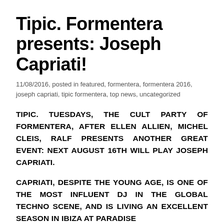Tipic. Formentera presents: Joseph Capriati!
11/08/2016, posted in featured, formentera, formentera 2016, joseph capriati, tipic formentera, top news, uncategorized
TIPIC. TUESDAYS, THE CULT PARTY OF FORMENTERA, AFTER ELLEN ALLIEN, MICHEL CLEIS, RALF PRESENTS ANOTHER GREAT EVENT: NEXT AUGUST 16TH WILL PLAY JOSEPH CAPRIATI.
CAPRIATI, DESPITE THE YOUNG AGE, IS ONE OF THE MOST INFLUENT DJ IN THE GLOBAL TECHNO SCENE, AND IS LIVING AN EXCELLENT SEASON IN IBIZA AT PARADISE